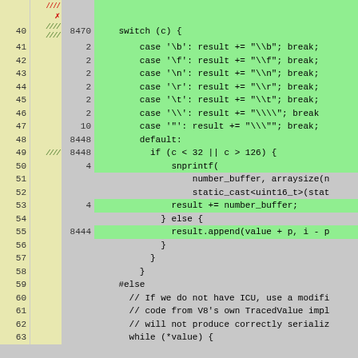[Figure (screenshot): Code coverage view showing C++ source code lines 40-63 with line numbers, coverage marks/counts, and syntax-highlighted code on green/gray background. Lines covered shown in green, uncovered in gray.]